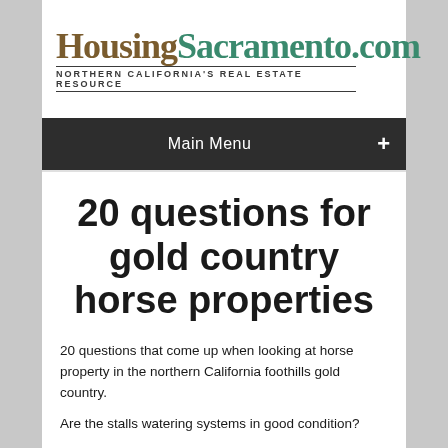[Figure (logo): HousingSacramento.com logo with tagline NORTHERN CALIFORNIA'S REAL ESTATE RESOURCE]
Main Menu +
20 questions for gold country horse properties
20 questions that come up when looking at horse property in the northern California foothills gold country.
Are the stalls watering systems in good condition?
What is the condition of the stall gates?